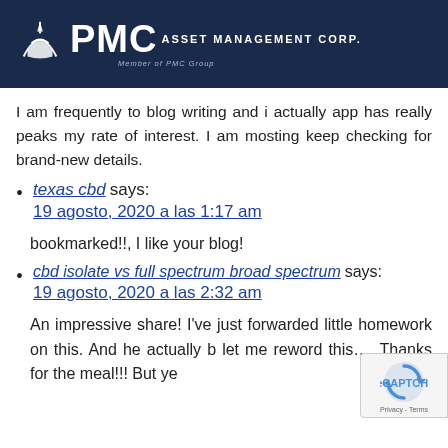[Figure (logo): PMC Asset Management Corp. logo on dark navy background, with ship/anchor icon]
I am frequently to blog writing and i actually app has really peaks my rate of interest. I am mosting keep checking for brand-new details.
texas cbd says:
19 agosto, 2020 a las 1:17 am
bookmarked!!, I like your blog!
cbd isolate vs full spectrum broad spectrum says:
19 agosto, 2020 a las 2:32 am
An impressive share! I've just forwarded little homework on this. And he actually b let me reword this…. Thanks for the meal!!! But ye